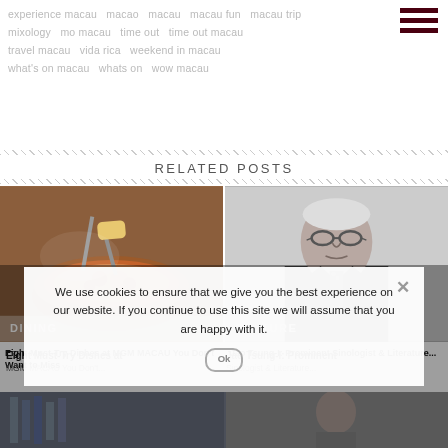experience macau   macao   macau   macau fun   macau trip   mixology   mo macau   time out   time out macau   travel macau   vida rica   weekend in macau   what's on macau   whats on   wow macau
RELATED POSTS
[Figure (photo): Food photo showing a clay bowl with meat dish being held with fork and spoon, labeled DINING]
[Figure (photo): Black and white portrait photo of elderly Asian man in suit, labeled CULTURE]
Eight Must-Try Dishes at MGM MACAU You Don't Want to Miss
Jao Tsung-I: Prominent Sinologist & Literature...
We use cookies to ensure that we give you the best experience on our website. If you continue to use this site we will assume that you are happy with it.